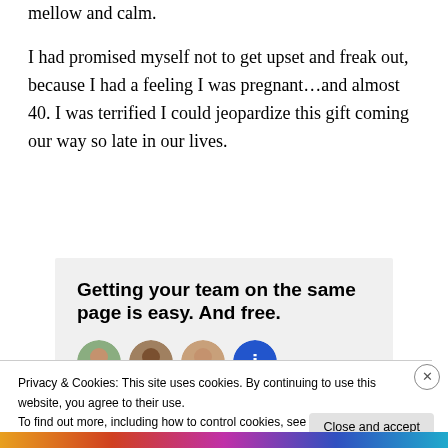mellow and calm.
I had promised myself not to get upset and freak out, because I had a feeling I was pregnant…and almost 40. I was terrified I could jeopardize this gift coming our way so late in our lives.
[Figure (infographic): Advertisement box with bold headline: 'Getting your team on the same page is easy. And free.' with four circular avatar images below it.]
Privacy & Cookies: This site uses cookies. By continuing to use this website, you agree to their use.
To find out more, including how to control cookies, see here: Cookie Policy
Close and accept